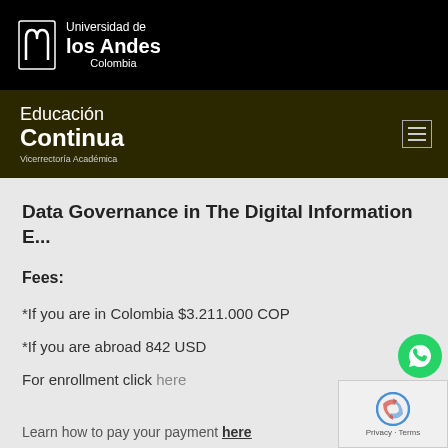[Figure (logo): Universidad de los Andes Colombia logo with white arch icon on black background]
Educación Continua - Vicerrectoría Académica
Data Governance in The Digital Information E...
Fees:
*If you are in Colombia $3.211.000 COP
*If you are abroad 842 USD
For enrollment click here
Learn how to pay your payment here